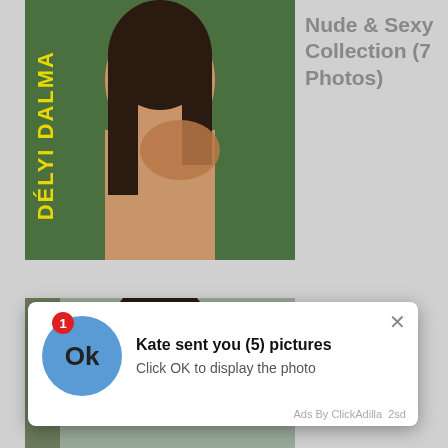[Figure (photo): Cropped photo of a woman with text watermark 'DÉLYI DALMA' in yellow vertical text on the left side]
Nude & Sexy Collection (7 Photos)
[Figure (photo): Partially visible photo of a woman, partially covered by an ad popup]
Tyra Moore Nude
[Figure (other): Ad popup: blue circle with 'Ok' text, badge showing '1', headline 'Kate sent you (5) pictures', subtext 'Click OK to display the photo', footer 'Ads By ClickAdilla 2sd']